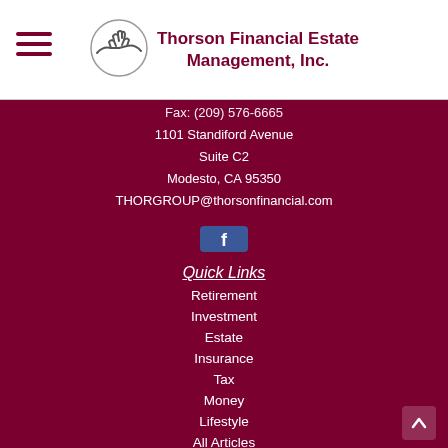[Figure (logo): Thorson Financial Estate Management, Inc. logo with handshake icon and dark red text]
Fax: (209) 576-6665
1101 Standiford Avenue
Suite C2
Modesto, CA 95350
THORGROUP@thorsonfinancial.com
[Figure (logo): Facebook icon button (blue square with white f)]
Quick Links
Retirement
Investment
Estate
Insurance
Tax
Money
Lifestyle
All Articles
All Videos
All Calculators